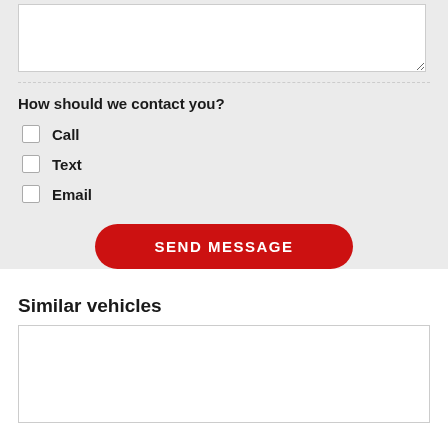[textarea input box]
How should we contact you?
Call
Text
Email
SEND MESSAGE
Similar vehicles
[Figure (other): Empty white card area for similar vehicles listing]